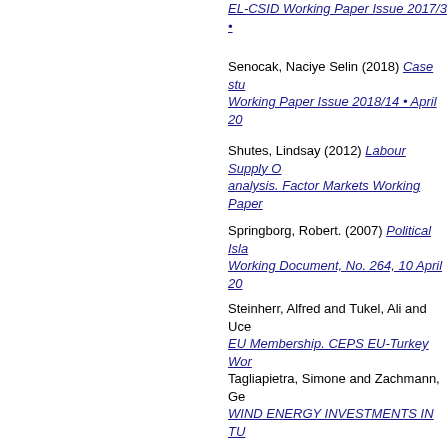EL-CSID Working Paper Issue 2017/3 •
Senocak, Naciye Selin (2018) Case stu... Working Paper Issue 2018/14 • April 20...
Shutes, Lindsay (2012) Labour Supply O... analysis. Factor Markets Working Paper...
Springborg, Robert. (2007) Political Isla... Working Document, No. 264, 10 April 20...
Steinherr, Alfred and Tukel, Ali and Uce... EU Membership. CEPS EU-Turkey Wor...
Tagliapietra, Simone and Zachmann, Ge... WIND ENERGY INVESTMENTS IN TU...
Tassinari, Fabrizio. (2006) Variable Geo... Document, No. 254, 30 November 2006...
Tekin, Ali and Williams, Paul A. (2009) ... Papers Series 170, 2009. [Working Pap...
Tocci, Nathalie. (2001) 21st Century Ke... Document No. 170, September 2001.